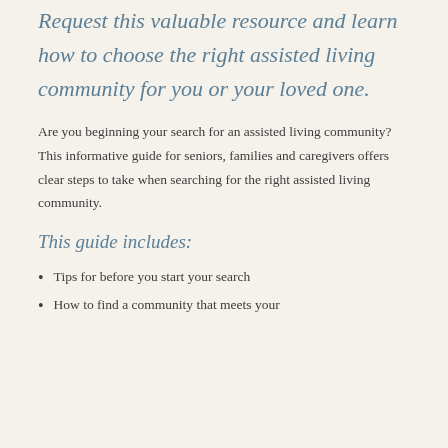Request this valuable resource and learn how to choose the right assisted living community for you or your loved one.
Are you beginning your search for an assisted living community? This informative guide for seniors, families and caregivers offers clear steps to take when searching for the right assisted living community.
This guide includes:
Tips for before you start your search
How to find a community that meets your